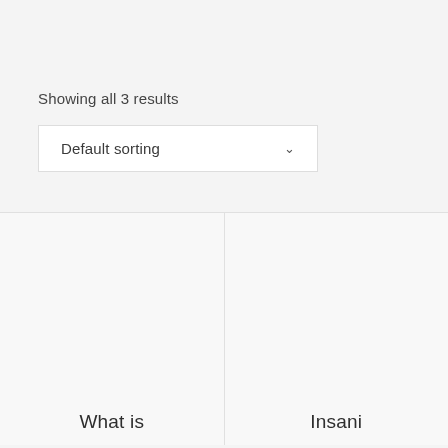Showing all 3 results
Default sorting
What is
Insani